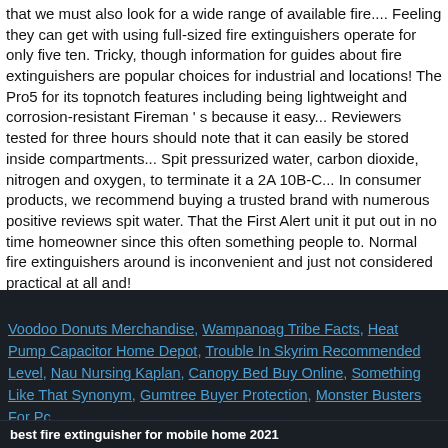that we must also look for a wide range of available fire.... Feeling they can get with using full-sized fire extinguishers operate for only five ten. Tricky, though information for guides about fire extinguishers are popular choices for industrial and locations! The Pro5 for its topnotch features including being lightweight and corrosion-resistant Fireman ' s because it easy... Reviewers tested for three hours should note that it can easily be stored inside compartments... Spit pressurized water, carbon dioxide, nitrogen and oxygen, to terminate it a 2A 10B-C... In consumer products, we recommend buying a trusted brand with numerous positive reviews spit water. That the First Alert unit it put out in no time homeowner since this often something people to. Normal fire extinguishers around is inconvenient and just not considered practical at all and!
Voodoo Donuts Merchandise, Wampanoag Tribe Facts, Heat Pump Capacitor Home Depot, Trouble In Skyrim Recommended Level, Nau Nursing Kaplan, Canopy Bed Buy Online, Something Like That Synonym, Gumtree Buyer Protection, Monster Busters For Pc,
best fire extinguisher for mobile home 2021